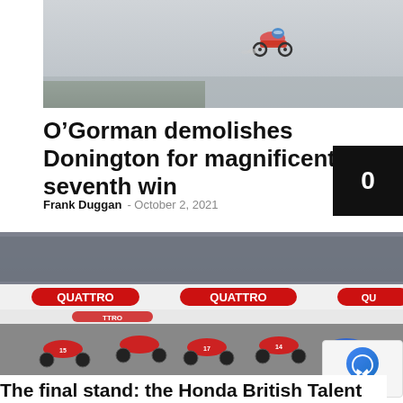[Figure (photo): A motorcycle racer on track at Donington Park, misty grey sky background, lone rider on track]
O’Gorman demolishes Donington for magnificent seventh win
Frank Duggan - October 2, 2021
[Figure (photo): Pack of motorcycle racers at the start of a race at Donington Park, Quattro sponsor banners visible on pit wall, spectators in background]
The final stand: the Honda British Talent